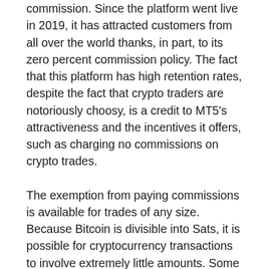commission. Since the platform went live in 2019, it has attracted customers from all over the world thanks, in part, to its zero percent commission policy. The fact that this platform has high retention rates, despite the fact that crypto traders are notoriously choosy, is a credit to MT5's attractiveness and the incentives it offers, such as charging no commissions on crypto trades.
The exemption from paying commissions is available for trades of any size. Because Bitcoin is divisible into Sats, it is possible for cryptocurrency transactions to involve extremely little amounts. Some micropayments and minor trades become impossible to complete when the broker requires a flat commission, such as $5 per transaction.
The 0% commissions are available for trades that are